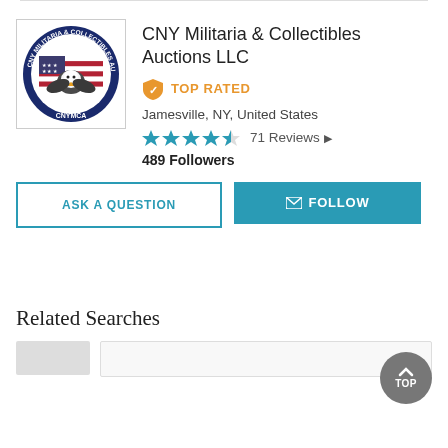[Figure (logo): CNY Militaria & Collectibles Auctions circular logo with eagle and American flag, text CNYMCA]
CNY Militaria & Collectibles Auctions LLC
TOP RATED
Jamesville, NY, United States
71 Reviews
489 Followers
ASK A QUESTION
FOLLOW
Related Searches